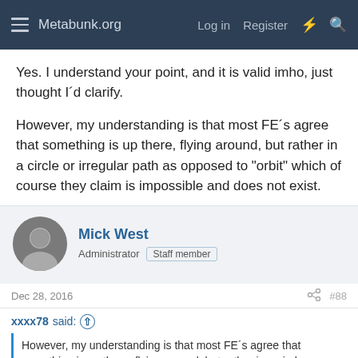Metabunk.org  Log in  Register
Yes. I understand your point, and it is valid imho, just thought I´d clarify.
However, my understanding is that most FE´s agree that something is up there, flying around, but rather in a circle or irregular path as opposed to "orbit" which of course they claim is impossible and does not exist.
Mick West
Administrator  Staff member
Dec 28, 2016  #88
xxxx78 said:
However, my understanding is that most FE´s agree that something is up there, flying around, but rather in a circle or irregular path as opposed to "orbit" which of course they claim is impossible and does